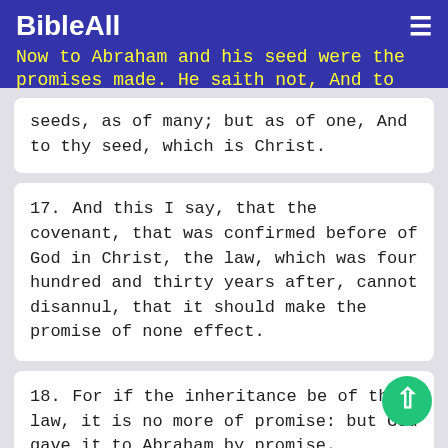BibleAll
Now to Abraham and his seed were the promises made. He saith not, And to seeds, as of many; but as of one, And to thy seed, which is Christ.
17. And this I say, that the covenant, that was confirmed before of God in Christ, the law, which was four hundred and thirty years after, cannot disannul, that it should make the promise of none effect.
18. For if the inheritance be of the law, it is no more of promise: but God gave it to Abraham by promise.